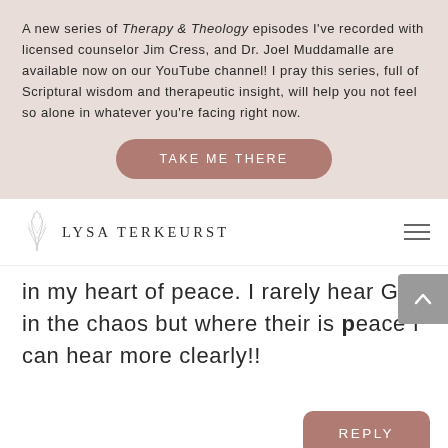A new series of Therapy & Theology episodes I've recorded with licensed counselor Jim Cress, and Dr. Joel Muddamalle are available now on our YouTube channel! I pray this series, full of Scriptural wisdom and therapeutic insight, will help you not feel so alone in whatever you're facing right now.
TAKE ME THERE
[Figure (logo): Lysa TerKeurst logo with leaf/botanical illustration above the name]
in my heart of peace. I rarely hear God in the chaos but where their is peace I can hear more clearly!!
REPLY